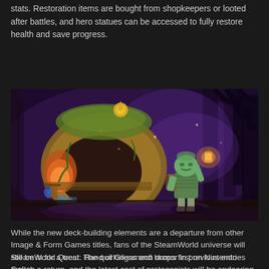stats. Restoration items are bought from shopkeepers or looted after battles, and hero statues can be accessed to fully restore health and save progress.
[Figure (screenshot): Screenshot from SteamWorld Quest showing a character holding a lantern in a purple-toned fantasy forest setting with a wooden hobbit-hole style building on the left side.]
While the new deck-building elements are a departure from other Image & Form Games titles, fans of the SteamWorld universe will still be in for a treat. The quirkiness and humor in previous entries makes a return, and the latest cast of protagonists will be endearing to old and new players alike.
SteamWorld Quest: Hand of Gilgamech drops first on Nintendo Switch